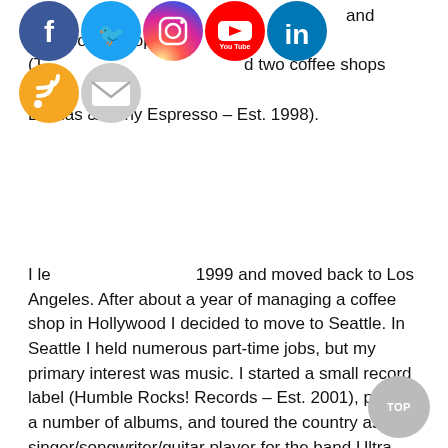[Figure (other): Social media icon circles: Facebook, Twitter, Instagram, YouTube, LinkedIn (top row); RSS, Email (second row)]
While in Pullman, I owned a skate/snowboard shop (The Lakeshore Surf Shop) and two coffee shops (Java Llamas & Pony Espresso – Est. 1998).

I left in May, 1999 and moved back to Los Angeles. After about a year of managing a coffee shop in Hollywood I decided to move to Seattle. In Seattle I held numerous part-time jobs, but my primary interest was music. I started a small record label (Humble Rocks! Records – Est. 2001), put out a number of albums, and toured the country as the singer/songwriter/guitar player for the band Ultra Find (iTunes link + YouTube link). In 2004 I moved to Denver to return to college – thinking I might become an entertainment lawyer.

In school I became very interested in the social sciences. I received a BA in Behavioral Science ('07) and then a MA in Sociology ('10).

During my undergraduate studies I worked as a valet, parking cars in the evenings. One night in 2005 I got the idea to sell advertising on the blank side of valet tickets. It was then that I